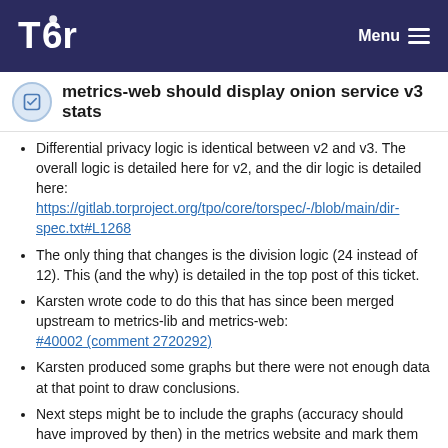Tor — Menu
metrics-web should display onion service v3 stats
Differential privacy logic is identical between v2 and v3. The overall logic is detailed here for v2, and the dir logic is detailed here: https://gitlab.torproject.org/tpo/core/torspec/-/blob/main/dir-spec.txt#L1268
The only thing that changes is the division logic (24 instead of 12). This (and the why) is detailed in the top post of this ticket.
Karsten wrote code to do this that has since been merged upstream to metrics-lib and metrics-web: #40002 (comment 2720292)
Karsten produced some graphs but there were not enough data at that point to draw conclusions.
Next steps might be to include the graphs (accuracy should have improved by then) in the metrics website and mark them as "experimental". As time moves